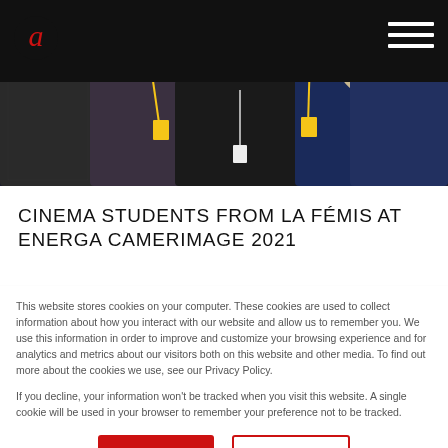Cinema Students from la Fémis at Energa Camerimage 2021 — website header with logo and navigation
[Figure (photo): Group photo of cinema students wearing badges/lanyards and winter clothing, dark background]
CINEMA STUDENTS FROM LA FÉMIS AT ENERGA CAMERIMAGE 2021
This website stores cookies on your computer. These cookies are used to collect information about how you interact with our website and allow us to remember you. We use this information in order to improve and customize your browsing experience and for analytics and metrics about our visitors both on this website and other media. To find out more about the cookies we use, see our Privacy Policy.

If you decline, your information won't be tracked when you visit this website. A single cookie will be used in your browser to remember your preference not to be tracked.
Accept | Decline